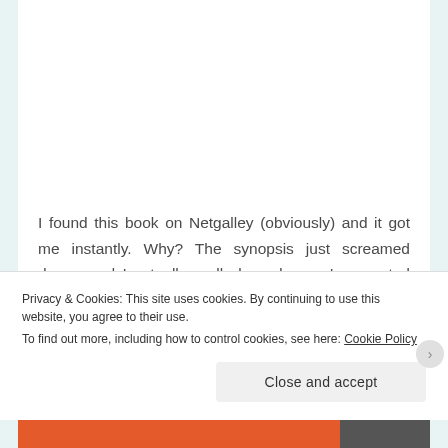I found this book on Netgalley (obviously) and it got me instantly. Why? The synopsis just screamed drama and I actually really love drama. I requested the book and I hoped for the best: I got the book!
I well-estimated this book because gosh what a
Privacy & Cookies: This site uses cookies. By continuing to use this website, you agree to their use.
To find out more, including how to control cookies, see here: Cookie Policy
Close and accept